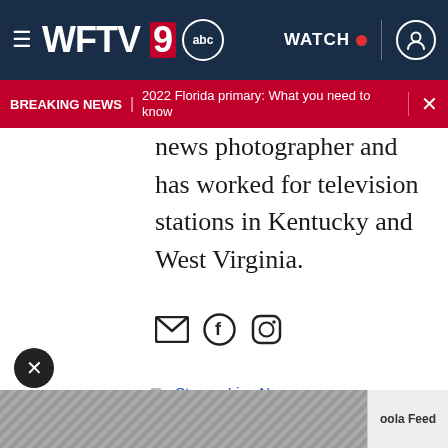WFTV 9 abc | WATCH
BREAKING NEWS | 2022 Florida primary: What you need to know
news photographer and has worked for television stations in Kentucky and West Virginia.
[Figure (other): Social media icons: email, Facebook, Instagram]
Stream Live News
Stream Breaking News
Read More
[Figure (other): Advertisement banner at the bottom with Taboola Feed label]